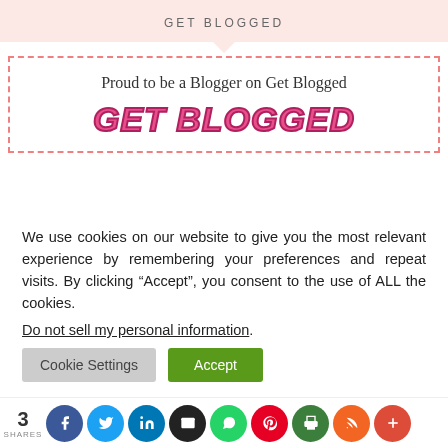GET BLOGGED
[Figure (logo): Get Blogged badge with text 'Proud to be a Blogger on Get Blogged' and stylized 'GET BLOGGED' logo in pink]
We use cookies on our website to give you the most relevant experience by remembering your preferences and repeat visits. By clicking “Accept”, you consent to the use of ALL the cookies.
Do not sell my personal information.
Cookie Settings  Accept
3 SHARES [social share icons: Facebook, Twitter, LinkedIn, Email, WhatsApp, Pinterest, Print, RSS, More]